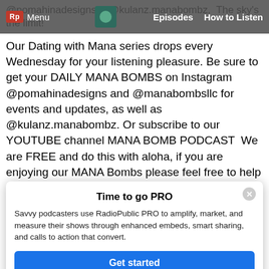@pomahinadesigns & @kulanz.manabombz.  The sky's the limit! | Rp Menu | Episodes  How to Listen
Our Dating with Mana series drops every Wednesday for your listening pleasure. Be sure to get your DAILY MANA BOMBS on Instagram @pomahinadesigns and @manabombsllc for events and updates, as well as @kulanz.manabombz. Or subscribe to our YOUTUBE channel MANA BOMB PODCAST  We are FREE and do this with aloha, if you are enjoying our MANA Bombs please feel free to help keep us going and alive by subscribing to our Patreon https://www.patreon.com/manabombs with as little as $5. Get the perks too!! As with all of our podcasts, please be aware that we share our stories and experiences, being vulnerable and open, that may cover areas of the heart, body, mind, and soul that may open up triggers. It is never our intention to open wounds, but we hope that our experiences help you heal.
[Figure (screenshot): Time to go PRO modal overlay. Text: 'Time to go PRO. Savvy podcasters use RadioPublic PRO to amplify, market, and measure their shows through enhanced embeds, smart sharing, and calls to action that convert.' with a blue 'Get started' button and an X close button.]